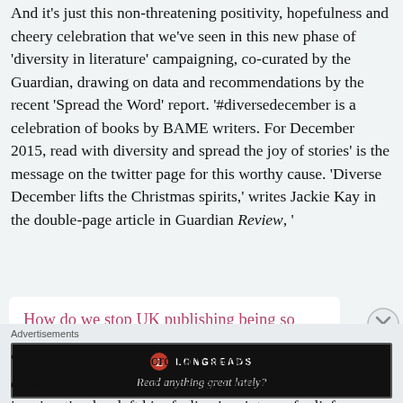And it's just this non-threatening positivity, hopefulness and cheery celebration that we've seen in this new phase of 'diversity in literature' campaigning, co-curated by the Guardian, drawing on data and recommendations by the recent 'Spread the Word' report. '#diversedecember is a celebration of books by BAME writers. For December 2015, read with diversity and spread the joy of stories' is the message on the twitter page for this worthy cause. 'Diverse December lifts the Christmas spirits,' writes Jackie Kay in the double-page article in Guardian Review, '
How do we stop UK publishing being so posh and white?
' Meanwhile, the extraordinary success of Nikesh Shukla's crowd-funded anthology of essays about race and immigration has left him feeling 'a mixture of relief and vindication that there is an audience for
Advertisements
[Figure (other): Longreads advertisement banner. Dark/black background with Longreads logo (red circle with L) and tagline 'Read anything great lately?']